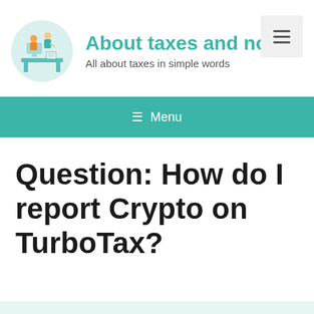About taxes and not only — All about taxes in simple words
[Figure (logo): Circular logo illustration showing people working at a desk with documents and computers]
≡ Menu
Question: How do I report Crypto on TurboTax?